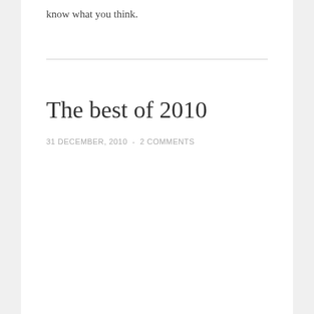know what you think.
The best of 2010
31 DECEMBER, 2010  -  2 COMMENTS